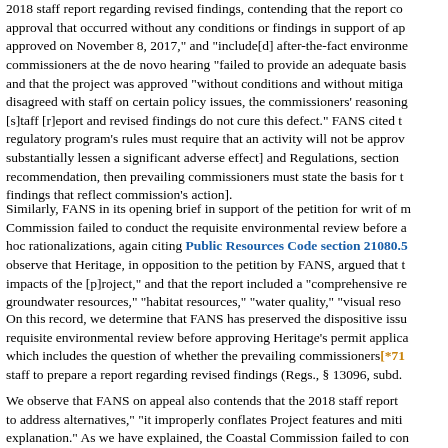2018 staff report regarding revised findings, contending that the report co... approval that occurred without any conditions or findings in support of ap... approved on November 8, 2017," and "include[d] after-the-fact environme... commissioners at the de novo hearing "failed to provide an adequate basis... and that the project was approved "without conditions and without mitiga... disagreed with staff on certain policy issues, the commissioners' reasoning... [s]taff [r]eport and revised findings do not cure this defect." FANS cited t... regulatory program's rules must require that an activity will not be approv... substantially lessen a significant adverse effect] and Regulations, section ... recommendation, then prevailing commissioners must state the basis for t... findings that reflect commission's action].
Similarly, FANS in its opening brief in support of the petition for writ of m... Commission failed to conduct the requisite environmental review before a... hoc rationalizations, again citing Public Resources Code section 21080.5... observe that Heritage, in opposition to the petition by FANS, argued that t... impacts of the [p]roject," and that the report included a "comprehensive re... groundwater resources," "habitat resources," "water quality," "visual reso...
On this record, we determine that FANS has preserved the dispositive issu... requisite environmental review before approving Heritage's permit applica... which includes the question of whether the prevailing commissioners [*71... staff to prepare a report regarding revised findings (Regs., § 13096, subd....
We observe that FANS on appeal also contends that the 2018 staff report s... to address alternatives," "it improperly conflates Project features and miti... explanation." As we have explained, the Coastal Commission failed to con...